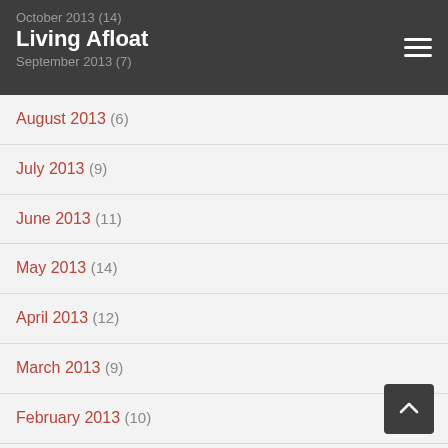Living Afloat
October 2013 (14)
September 2013 (7)
August 2013 (6)
July 2013 (9)
June 2013 (11)
May 2013 (14)
April 2013 (12)
March 2013 (9)
February 2013 (10)
January 2013 (6)
December 2012 (8)
November 2012 (7)
October 2012 (10)
September 2012 (16)